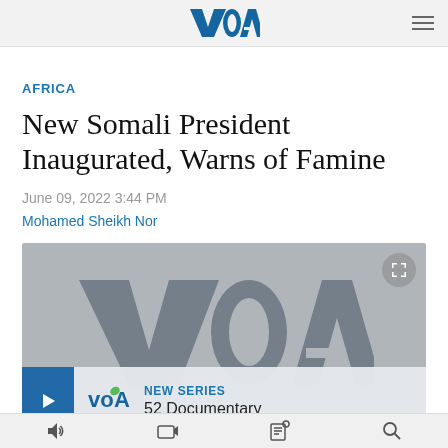VOA
AFRICA
New Somali President Inaugurated, Warns of Famine
June 09, 2022 3:44 PM
Mohamed Sheikh Nor
[Figure (screenshot): VOA video player showing VOA logo watermark with an overlay panel at bottom displaying arrow button, VOA logo, NEW SERIES label, and 52 Documentary text]
Media player controls bar